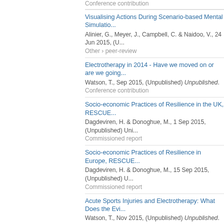Conference contribution
Visualising Actions During Scenario-based Mental Simulatio...
Alinier, G., Meyer, J., Campbell, C. & Naidoo, V., 24 Jun 2015, (U...
Other › peer-review
Electrotherapy in 2014 - Have we moved on or are we going...
Watson, T., Sep 2015, (Unpublished) Unpublished.
Conference contribution
Socio-economic Practices of Resilience in the UK, RESCUE...
Dagdeviren, H. & Donoghue, M., 1 Sep 2015, (Unpublished) Uni...
Commissioned report
Socio-economic Practices of Resilience in Europe, RESCUE...
Dagdeviren, H. & Donoghue, M., 15 Sep 2015, (Unpublished) U...
Commissioned report
Acute Sports Injuries and Electrotherapy: What Does the Evi...
Watson, T., Nov 2015, (Unpublished) Unpublished.
Conference contribution
Longitudinal and Biographical Aspects of Resilience in the U...
Dagdeviren, H., Donoghue, M. & Luz, S., 9 Nov 2015, (Unpublis...
Other report
Bregna – The last and perfect city on Earth!? Utopian/dystop...
Magerstadt, S., 12 Nov 2015, (Unpublished).
Poster
Introducing clinical educators to interprofessional educatio...
Alinier, G., Saifeldeen, K. A. & Salim, R., 4 Dec 2015, (Unpublis...
Abstract › peer-review
2016